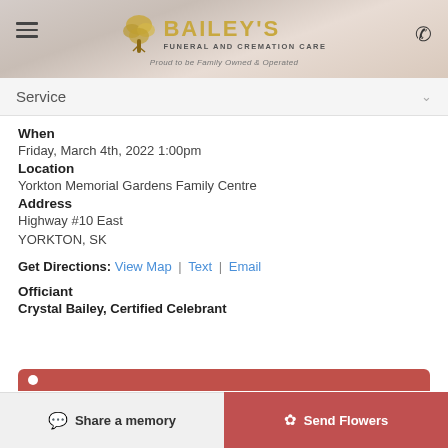Bailey's Funeral and Cremation Care — Proud to be Family Owned & Operated
Service
When
Friday, March 4th, 2022 1:00pm
Location
Yorkton Memorial Gardens Family Centre
Address
Highway #10 East
YORKTON, SK
Get Directions: View Map | Text | Email
Officiant
Crystal Bailey, Certified Celebrant
Share a memory | Send Flowers